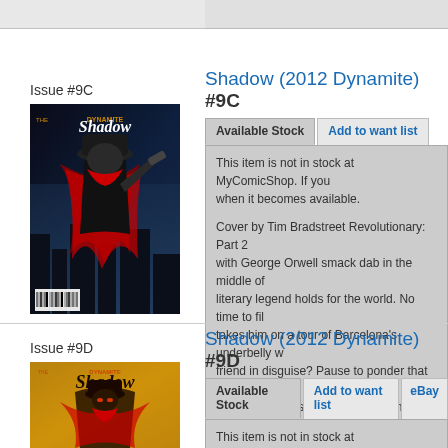Issue #9C
[Figure (illustration): Comic book cover for The Shadow (2012 Dynamite) Issue #9C, featuring a dark figure in a red cape and hat holding a gun, noir style]
Shadow (2012 Dynamite) #9C
Available Stock
Add to want list
This item is not in stock at MyComicShop. If yo... when it becomes available.
Cover by Tim Bradstreet Revolutionary: Part 2 with George Orwell smack dab in the middle o... literary legend holds for the world. No time to f... takes him on a tour of Barcelona's underbelly... friend in disguise? Pause to ponder that and yo... Shadow, because you're going to need it! Cove...
Issue #9D
[Figure (illustration): Comic book cover for The Shadow (2012 Dynamite) Issue #9D, featuring a yellow-toned illustration of The Shadow character]
Shadow (2012 Dynamite) #9D
Available Stock
Add to want list
eBay
This item is not in stock at MyComicShop. If yo... when it becomes available.